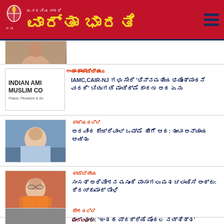ವಾರ್ತಾ ಭಾರತಿ - ಜನದನಿಯ ಸಾರಥಿ
[Figure (photo): Partial photo at top, cropped]
[Figure (logo): Indian American Muslim Council logo with text INDIAN AMI MUSLIM CO Peace, Pluralism & So]
ಅಂತಾರಾಷ್ಟ್ರೀಯ
IAMC,CAIR-NJ ಗಳು ಸೇರಿ 'ಭಿನ್ನಮತೀಯ ಭಯೋತ್ಪಾದನೆ ವರದಿ' ಬಿಡುಗಡೆ ಮಾಡಿದ್ಮೆ ಕಾರಣ ಅದ ಏನು
[Figure (photo): Person in blue shirt seated at desk with books in background]
ರಾಜ್ಯದಲ್ಲಿ
ಅರವಿಂದ ಕೇಜ್ರಿವಾಲ್ ಒಮ್ಮೆ ಹೀಗೆ ಆದ: ತುಂಬಾ ಅನ್ಯಾಯ ಆಯ್ತು
[Figure (photo): Man in saffron shawl with glasses speaking at microphone]
ರಾಷ್ಟ್ರೀಯ
ಸಂಸತ್ ಅಧಿವೇಶನ ಮಸೂದೆ ಪಾಸಾಗಲು ಮತ ಚಲಾಯಿಸಿ ಅಂದ್ರು: ಕಿರಣ್ಕುಮಾರ್ ಬೇಳಿ
[Figure (photo): Crowd scene at outdoor event or market]
ದೇಶದಲ್ಲಿ
ಮಂಗಳೂರು: 'ಇಂತಹ ಪ್ರಕ್ರಿಯೆ ಮೊದಲ ನಡ್ತಿತ್ತ' ಅಧಿಕಾರಿಗಳ ಉತ್ತರ